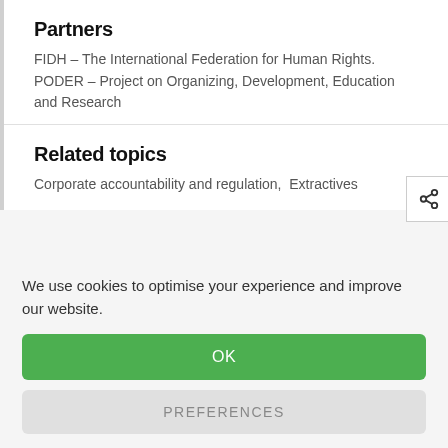Partners
FIDH – The International Federation for Human Rights. PODER – Project on Organizing, Development, Education and Research
Related topics
Corporate accountability and regulation,  Extractives
We use cookies to optimise your experience and improve our website.
OK
PREFERENCES